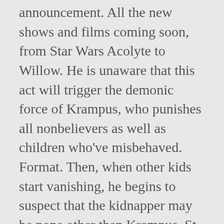announcement. All the new shows and films coming soon, from Star Wars Acolyte to Willow. He is unaware that this act will trigger the demonic force of Krampus, who punishes all nonbelievers as well as children who've misbehaved. Format. Then, when other kids start vanishing, he begins to suspect that the kidnapper may be none other than Krampus, St. Nick's evil brother who resembles a goat and brutally punishes children while escaping punishment himself—all of it with Santa's approval. "krampus movie". Not to be confused with the terrible Michael Keaton vehicle of the same name, Jack Frost is one of those so-bad-it's-good turkeys that has to be seen to be believed.